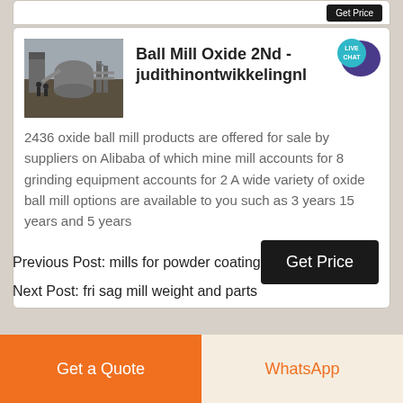[Figure (photo): Industrial ball mill machinery photograph used as thumbnail for search result card]
Ball Mill Oxide 2Nd - judithinontwikkelingnl
2436 oxide ball mill products are offered for sale by suppliers on Alibaba of which mine mill accounts for 8 grinding equipment accounts for 2 A wide variety of oxide ball mill options are available to you such as 3 years 15 years and 5 years
Get Price
Previous Post: mills for powder coating
Next Post: fri sag mill weight and parts
Get a Quote
WhatsApp